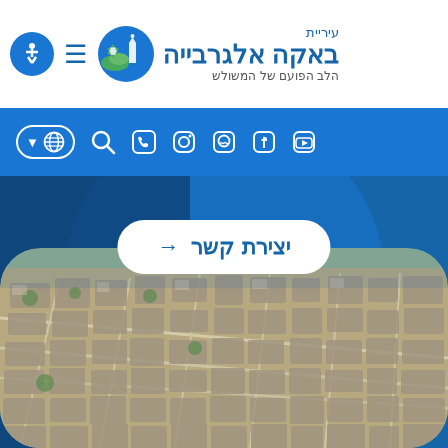[Figure (logo): Municipality of Baka Al-Gharbiyye logo with city emblem showing a mosque and greenery]
עיריית באקה אלגרבייה
הלב הפועם של המשולש
[Figure (infographic): Navigation bar with accessibility icon, hamburger menu, globe/language selector, search, phone, Instagram, WhatsApp, Facebook, YouTube icons]
[Figure (other): Button: יצירת קשר (Contact) with arrow]
[Figure (photo): Aerial photograph of Baka Al-Gharbiyye city showing dense urban residential area from above]